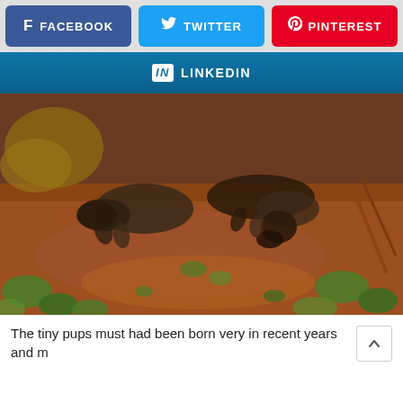[Figure (other): Social media share buttons: Facebook (blue/purple), Twitter (blue), Pinterest (red) in a row, and LinkedIn (blue) bar below]
[Figure (photo): Two small hairless newborn puppies lying on reddish-brown dirt ground with green leaves around them]
The tiny pups must had been born very in recent years and m